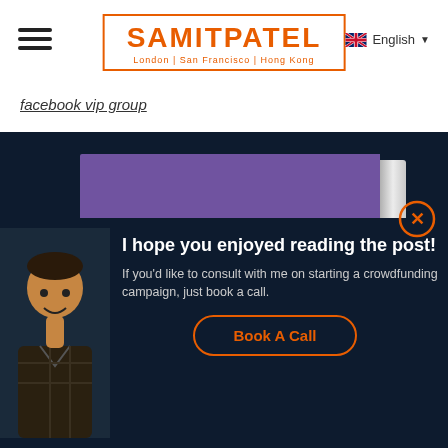SAMITPATEL — London | San Francisco | Hong Kong
facebook vip group
[Figure (illustration): Dark navy background with a 3D-rendered book showing purple cover. Book title reads: THE ULTIMATE CHEAT SHEET PDF TO 7 FIGURES FOR (partially visible). An avatar/popup at bottom shows a person photo, text 'I hope you enjoyed reading the post! If you'd like to consult with me on starting a crowdfunding campaign, just book a call.' and a 'Book A Call' button.]